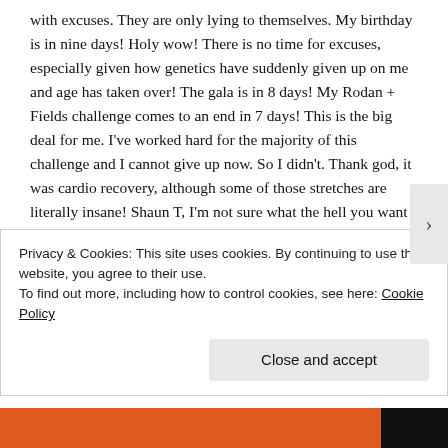with excuses. They are only lying to themselves. My birthday is in nine days! Holy wow! There is no time for excuses, especially given how genetics have suddenly given up on me and age has taken over! The gala is in 8 days! My Rodan + Fields challenge comes to an end in 7 days! This is the big deal for me. I've worked hard for the majority of this challenge and I cannot give up now. So I didn't. Thank god, it was cardio recovery, although some of those stretches are literally insane! Shaun T, I'm not sure what the hell you want from my thighs and buttocks, but they couldn't play for the entire time today! Perhaps next time? 🤨 I did my best! And there were only a couple
Privacy & Cookies: This site uses cookies. By continuing to use this website, you agree to their use.
To find out more, including how to control cookies, see here: Cookie Policy
Close and accept